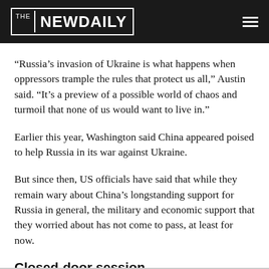THE NEW DAILY
“Russia’s invasion of Ukraine is what happens when oppressors trample the rules that protect us all,” Austin said. “It’s a preview of a possible world of chaos and turmoil that none of us would want to live in.”
Earlier this year, Washington said China appeared poised to help Russia in its war against Ukraine.
But since then, US officials have said that while they remain wary about China’s longstanding support for Russia in general, the military and economic support that they worried about has not come to pass, at least for now.
Closed-door session